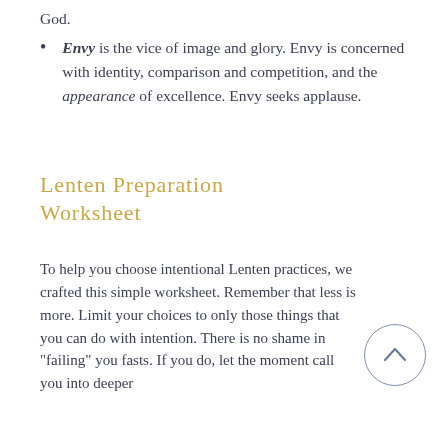God.
Envy is the vice of image and glory. Envy is concerned with identity, comparison and competition, and the appearance of excellence. Envy seeks applause.
Lenten Preparation Worksheet
To help you choose intentional Lenten practices, we crafted this simple worksheet. Remember that less is more. Limit your choices to only those things that you can do with intention. There is no shame in "failing" you fasts. If you do, let the moment call you into deeper